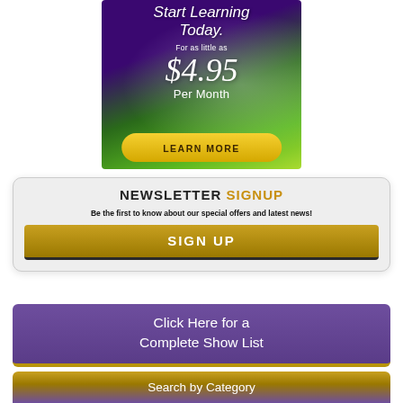[Figure (infographic): Advertisement banner with purple/green gradient background showing 'Start Learning Today. For as little as $4.95 Per Month' with a yellow 'LEARN MORE' button]
NEWSLETTER SIGNUP
Be the first to know about our special offers and latest news!
SIGN UP
Click Here for a Complete Show List
Search by Category